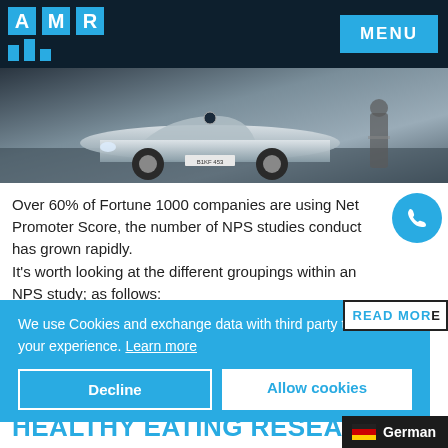AMR | MENU
[Figure (photo): Black and white photo of a BMW convertible car with a person standing beside it]
Over 60% of Fortune 1000 companies are using Net Promoter Score, the number of NPS studies conduct has grown rapidly.
It's worth looking at the different groupings within an NPS study; as follows:
We use Cookies and exchange data with third party to enhance your experience. Learn more
Decline | Allow cookies
HEALTHY EATING RESEARCH